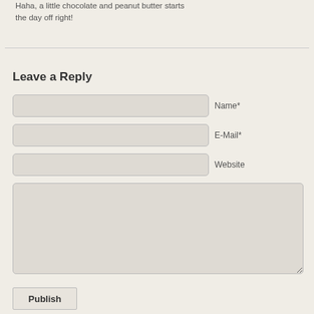Haha, a little chocolate and peanut butter starts the day off right!
Leave a Reply
Name*
E-Mail*
Website
Publish